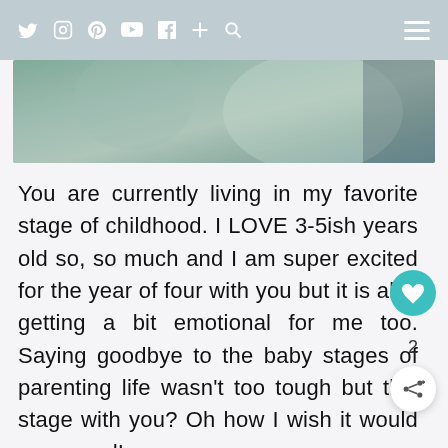Social media navigation bar with icons: Twitter, Instagram, Pinterest, YouTube, Facebook, Plus, Search, and hamburger menu
[Figure (photo): Partial photo of a child, blurred/cropped, with green and muted tones visible]
You are currently living in my favorite stage of childhood. I LOVE 3-5ish years old so, so much and I am super excited for the year of four with you but it is also getting a bit emotional for me too. Saying goodbye to the baby stages of parenting life wasn't too tough but this stage with you? Oh how I wish it would never end!